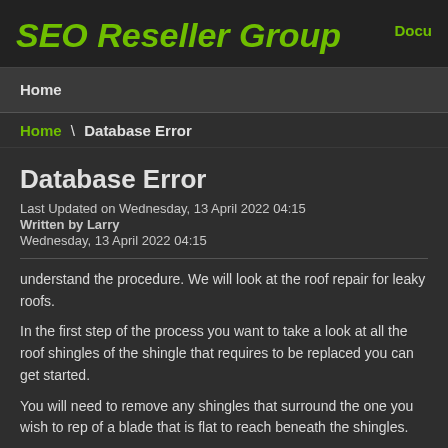SEO Reseller Group
Docu...
Home
Home \ Database Error
Database Error
Last Updated on Wednesday, 13 April 2022 04:15
Written by Larry
Wednesday, 13 April 2022 04:15
understand the procedure. We will look at the roof repair for leaky roofs.
In the first step of the process you want to take a look at all the roof shingles of the shingle that requires to be replaced you can get started.
You will need to remove any shingles that surround the one you wish to rep of a blade that is flat to reach beneath the shingles.
It is necessary to take off any glue or other device that held the shingles do